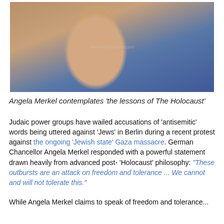[Figure (photo): Close-up photograph of Angela Merkel looking upward against a blue background, with a watermark reading 'www.capitalismcore']
Angela Merkel contemplates 'the lessons of The Holocaust'
Judaic power groups have wailed accusations of 'antisemitic' words being uttered against 'Jews' in Berlin during a recent protest against the ongoing 'Jewish state' Gaza massacre. German Chancellor Angela Merkel responded with a powerful statement drawn heavily from advanced post-'Holocaust' philosophy: "These outbursts are an attack on freedom and tolerance ... We cannot and will not tolerate this."
While Angela Merkel claims to speak of freedom and tolerance...